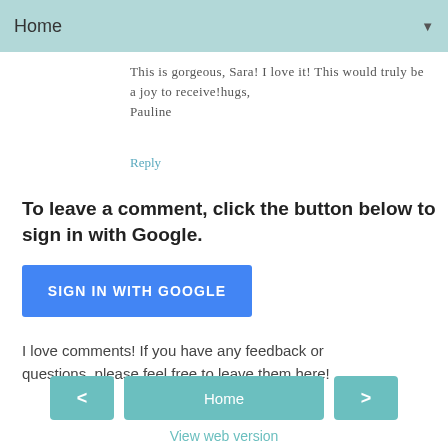Home ▼
This is gorgeous, Sara! I love it! This would truly be a joy to receive!hugs,
Pauline
Reply
To leave a comment, click the button below to sign in with Google.
[Figure (other): Blue SIGN IN WITH GOOGLE button]
I love comments! If you have any feedback or questions, please feel free to leave them here!
[Figure (other): Navigation bar with left arrow, Home button, and right arrow]
View web version
Powered by Blogger.